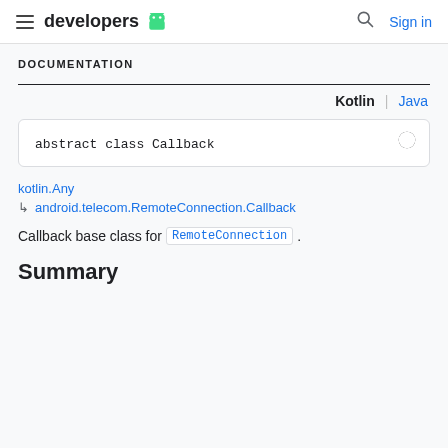developers | Sign in
DOCUMENTATION
Kotlin | Java
abstract class Callback
kotlin.Any
android.telecom.RemoteConnection.Callback
Callback base class for RemoteConnection.
Summary